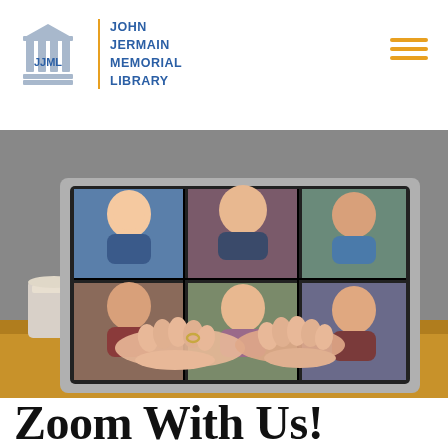JJML | JOHN JERMAIN MEMORIAL LIBRARY
[Figure (photo): Photograph of a person's hands typing on a laptop. On the laptop screen is a video conference call showing six participants in a grid layout. A coffee cup sits to the left on a wooden desk.]
Zoom With Us!